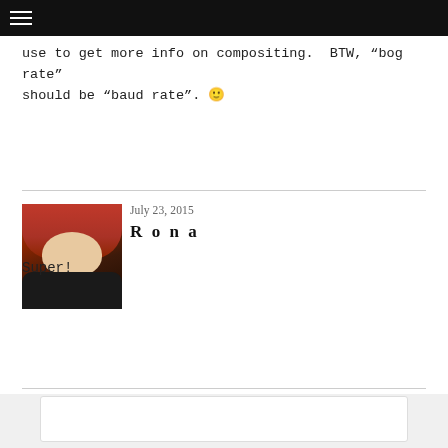use to get more info on compositing.  BTW, “bog rate” should be “baud rate”. 🙂
July 23, 2015
Rona
Super!